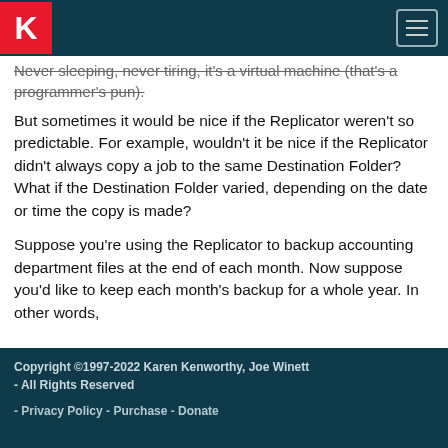K — Karen Kenworthy site header with hamburger menu
Never sleeping, never tiring, it's a virtual machine (that's a programmer's pun).
But sometimes it would be nice if the Replicator weren't so predictable. For example, wouldn't it be nice if the Replicator didn't always copy a job to the same Destination Folder? What if the Destination Folder varied, depending on the date or time the copy is made?
Suppose you're using the Replicator to backup accounting department files at the end of each month. Now suppose you'd like to keep each month's backup for a whole year. In other words,
Copyright ©1997-2022 Karen Kenworthy, Joe Winett - All Rights Reserved
- Privacy Policy - Purchase - Donate